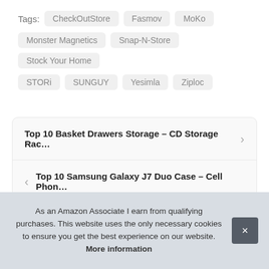Tags: CheckOutStore  Fasmov  MoKo  Monster Magnetics  Snap-N-Store  Stock Your Home  STORi  SUNGUY  Yesimla  Ziploc
Top 10 Basket Drawers Storage – CD Storage Rac…
Top 10 Samsung Galaxy J7 Duo Case – Cell Phon…
As an Amazon Associate I earn from qualifying purchases. This website uses the only necessary cookies to ensure you get the best experience on our website. More information